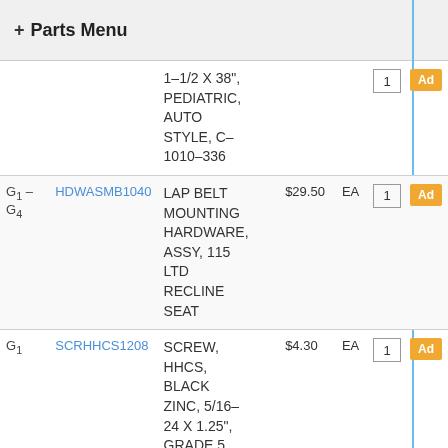+ Parts Menu
| Loc | Part # | Description | Price | Unit | Qty | Add |
| --- | --- | --- | --- | --- | --- | --- |
|  |  | 1-1/2 X 38", PEDIATRIC, AUTO STYLE, C-1010-336 |  |  | 1 | Ad |
| G1 - G4 | HDWASMB1040 | LAP BELT MOUNTING HARDWARE, ASSY, 115 LTD RECLINE SEAT | $29.50 | EA | 1 | Ad |
| G1 | SCRHHCS1208 | SCREW, HHCS, BLACK ZINC, 5/16-24 X 1.25", GRADE 5 | $4.30 | EA | 1 | Ad |
| G2 | WASSTND1002 | WASHER | $4.30 | EA | 1 | Ad |